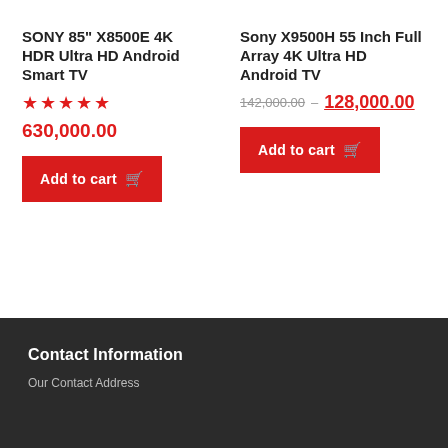SONY 85" X8500E 4K HDR Ultra HD Android Smart TV
★★★★★
630,000.00
Add to cart
Sony X9500H 55 Inch Full Array 4K Ultra HD Android TV
142,000.00 — 128,000.00
Add to cart
Contact Information
Our Contact Address